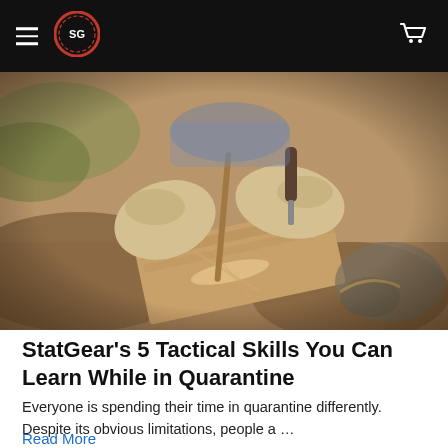StatGear navigation bar with hamburger menu, logo, and cart icon
[Figure (photo): Close-up photo of gloved hands using a fire-starting tool on a wooden board outdoors, with soil and rocks visible in the background. Warm sepia/earthy tones.]
StatGear's 5 Tactical Skills You Can Learn While in Quarantine
Everyone is spending their time in quarantine differently. Despite its obvious limitations, people a …
Read More